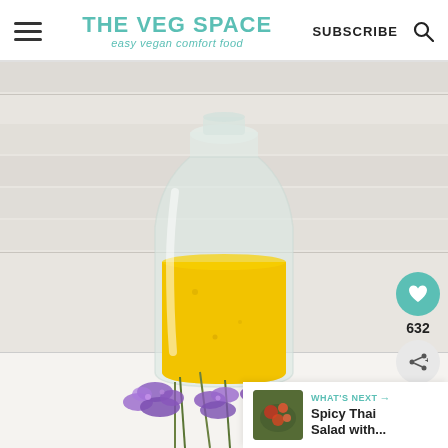THE VEG SPACE | easy vegan comfort food | SUBSCRIBE
[Figure (photo): A glass milk bottle filled with bright yellow turmeric or mango dressing, set against a white brick wall background. Purple lavender flowers are placed in front of the bottle at the base. Social sharing overlay shows heart icon with 632 count. 'WHAT'S NEXT' banner shows Spicy Thai Salad with...]